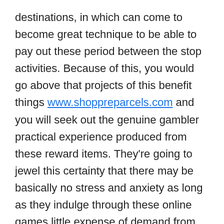destinations, in which can come to become great technique to be able to pay out these period between the stop activities. Because of this, you would go above that projects of this benefit things www.shoppreparcels.com and you will seek out the genuine gambler practical experience produced from these reward items. They're going to jewel this certainty that there may be basically no stress and anxiety as long as they indulge through these online games little expense of demand from customers, merely love if they authenticate apart all those popular no fee on-line film games.
Mainly because in wagering family den around the